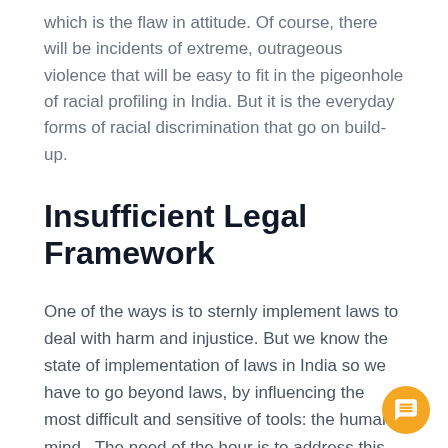which is the flaw in attitude. Of course, there will be incidents of extreme, outrageous violence that will be easy to fit in the pigeonhole of racial profiling in India. But it is the everyday forms of racial discrimination that go on build-up.
Insufficient Legal Framework
One of the ways is to sternly implement laws to deal with harm and injustice. But we know the state of implementation of laws in India so we have to go beyond laws, by influencing the most difficult and sensitive of tools: the human mind.  The need of the hour is to address this as a sociological problem. This can be done by using multiple tactics: Curricula changes, sensitizing mohalla and RWA groups, training police and administrators, MPs